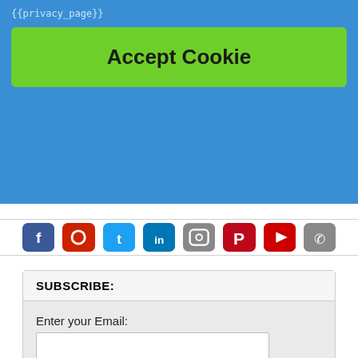{{privacy_page}}
Accept Cookie
[Figure (other): Row of social media icon buttons: Facebook, Google+/Reddit, Twitter, LinkedIn, Instagram, Pinterest, YouTube, Phone]
SUBSCRIBE:
Enter your Email:
Subscribe me! »
Preview | Powered by FeedBlitz